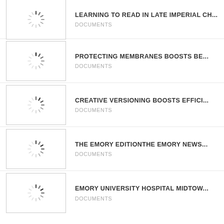LEARNING TO READ IN LATE IMPERIAL CH...
DOCUMENTS
PROTECTING MEMBRANES BOOSTS BE...
DOCUMENTS
CREATIVE VERSIONING BOOSTS EFFICI...
DOCUMENTS
THE EMORY EDITIONTHE EMORY NEWS...
DOCUMENTS
EMORY UNIVERSITY HOSPITAL MIDTOW...
DOCUMENTS